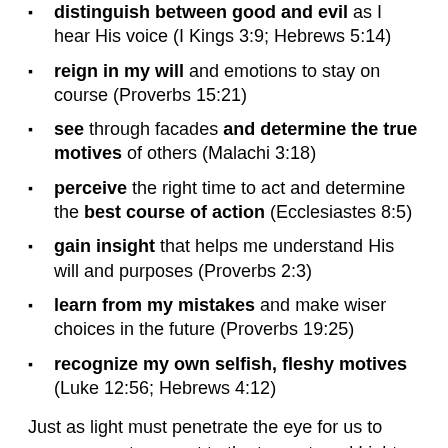distinguish between good and evil as I hear His voice (I Kings 3:9; Hebrews 5:14)
reign in my will and emotions to stay on course (Proverbs 15:21)
see through facades and determine the true motives of others (Malachi 3:18)
perceive the right time to act and determine the best course of action (Ecclesiastes 8:5)
gain insight that helps me understand His will and purposes (Proverbs 2:3)
learn from my mistakes and make wiser choices in the future (Proverbs 19:25)
recognize my own selfish, fleshy motives (Luke 12:56; Hebrews 4:12)
Just as light must penetrate the eye for us to see, we must connect to the true, eternal Light through Bible study and